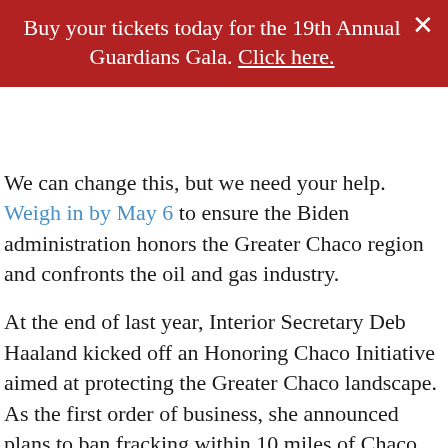Buy your tickets today for the 19th Annual Guardians Gala. Click here.
We can change this, but we need your help. Weigh in by May 6 to ensure the Biden administration honors the Greater Chaco region and confronts the oil and gas industry.
At the end of last year, Interior Secretary Deb Haaland kicked off an Honoring Chaco Initiative aimed at protecting the Greater Chaco landscape. As the first order of business, she announced plans to ban fracking within 10 miles of Chaco Canyon.
This is good, but we need to ensure Secretary Haaland's Honoring Chaco Initiative goes ALL THE WAY.
Landscape-level protection for Greater Chaco is the only